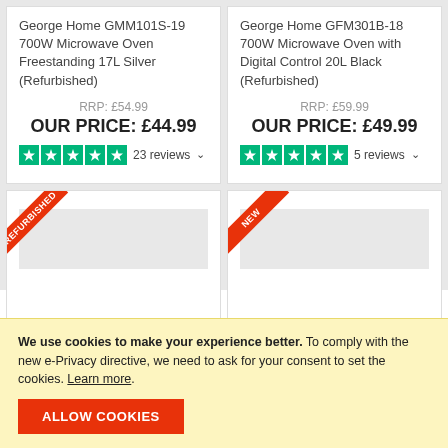George Home GMM101S-19 700W Microwave Oven Freestanding 17L Silver (Refurbished)
RRP: £54.99
OUR PRICE: £44.99
23 reviews
George Home GFM301B-18 700W Microwave Oven with Digital Control 20L Black (Refurbished)
RRP: £59.99
OUR PRICE: £49.99
5 reviews
[Figure (other): Product card with REFURBISHED ribbon badge and grey product image area]
[Figure (other): Product card with NEW ribbon badge and grey product image area]
We use cookies to make your experience better. To comply with the new e-Privacy directive, we need to ask for your consent to set the cookies. Learn more.
ALLOW COOKIES